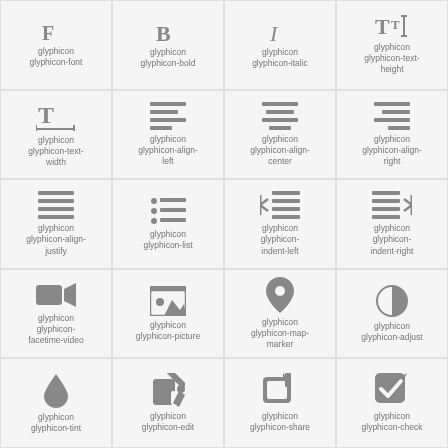[Figure (illustration): Grid of glyphicon icons with labels]
glyphicon glyphicon-font
glyphicon glyphicon-bold
glyphicon glyphicon-italic
glyphicon glyphicon-text-height
glyphicon glyphicon-text-width
glyphicon glyphicon-align-left
glyphicon glyphicon-align-center
glyphicon glyphicon-align-right
glyphicon glyphicon-align-justify
glyphicon glyphicon-list
glyphicon glyphicon-indent-left
glyphicon glyphicon-indent-right
glyphicon glyphicon-facetime-video
glyphicon glyphicon-picture
glyphicon glyphicon-map-marker
glyphicon glyphicon-adjust
glyphicon glyphicon-tint
glyphicon glyphicon-edit
glyphicon glyphicon-share
glyphicon glyphicon-check